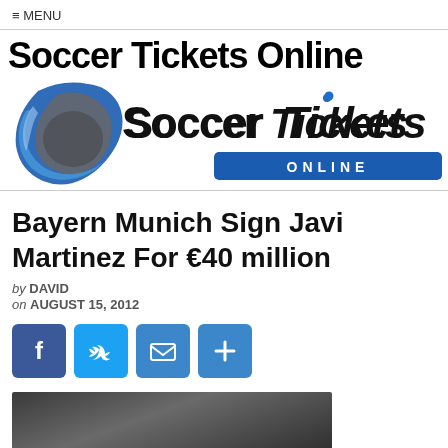≡ MENU
[Figure (logo): Soccer Tickets Online logo with blue swirl graphic and text 'SoccerTickets ONLINE']
Bayern Munich Sign Javi Martinez For €40 million
by DAVID
on AUGUST 15, 2012
[Figure (infographic): Social share buttons: Facebook, Twitter, Email, More (+)]
[Figure (photo): Dark photo of a person, partially visible at bottom of page]